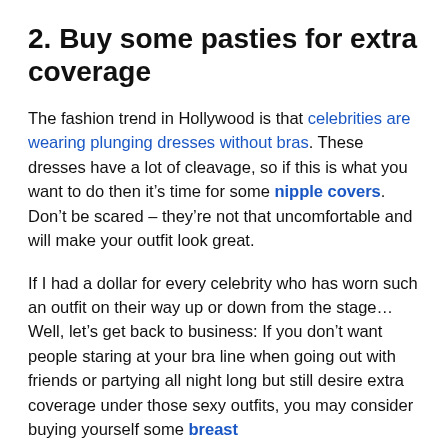2. Buy some pasties for extra coverage
The fashion trend in Hollywood is that celebrities are wearing plunging dresses without bras. These dresses have a lot of cleavage, so if this is what you want to do then it’s time for some nipple covers. Don’t be scared – they’re not that uncomfortable and will make your outfit look great.
If I had a dollar for every celebrity who has worn such an outfit on their way up or down from the stage… Well, let’s get back to business: If you don’t want people staring at your bra line when going out with friends or partying all night long but still desire extra coverage under those sexy outfits, you may consider buying yourself some breast